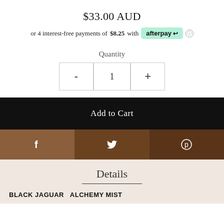$33.00 AUD
or 4 interest-free payments of $8.25 with afterpay
Quantity
- 1 +
Add to Cart
[Figure (other): Social sharing bar with Facebook, Twitter, and Pinterest icons on brown/dark brown background segments]
Details
BLACK JAGUAR  ALCHEMY MIST